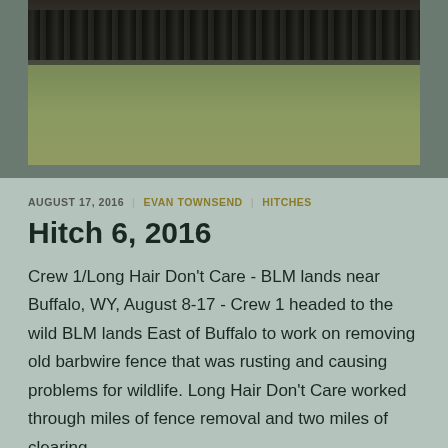[Figure (photo): Group photo of people standing outdoors on grass field, cropped at top showing lower halves of people standing in a line]
AUGUST 17, 2016 | EVAN TOWNSEND | HITCHES
Hitch 6, 2016
Crew 1/Long Hair Don't Care - BLM lands near Buffalo, WY, August 8-17 - Crew 1 headed to the wild BLM lands East of Buffalo to work on removing old barbwire fence that was rusting and causing problems for wildlife. Long Hair Don't Care worked through miles of fence removal and two miles of clearing …